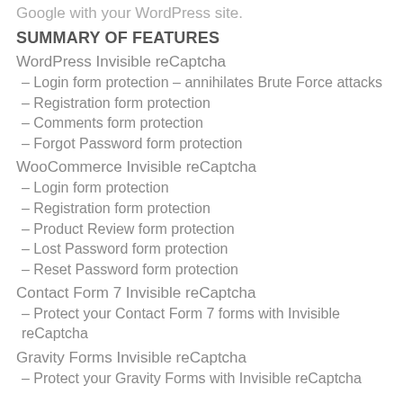Google with your WordPress site.
SUMMARY OF FEATURES
WordPress Invisible reCaptcha
– Login form protection – annihilates Brute Force attacks
– Registration form protection
– Comments form protection
– Forgot Password form protection
WooCommerce Invisible reCaptcha
– Login form protection
– Registration form protection
– Product Review form protection
– Lost Password form protection
– Reset Password form protection
Contact Form 7 Invisible reCaptcha
– Protect your Contact Form 7 forms with Invisible reCaptcha
Gravity Forms Invisible reCaptcha
– Protect your Gravity Forms with Invisible reCaptcha